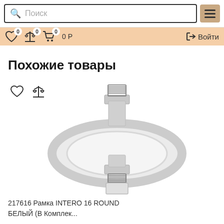Поиск  [menu icon]  0 [heart] 0 [scale] 0 [cart] 0 Р  Войти
Похожие товары
[Figure (photo): Product image: INTERO 16 ROUND mounting frame, round white recessed ceiling light fixture shown with springs/clips, heart and scale icons overlaid]
217616 Рамка INTERO 16 ROUND БЕЛЫЙ (В Комплек...